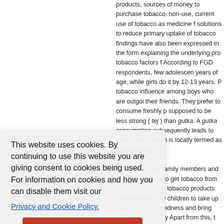products, sources of money to purchase tobacco, reasons for non-use, current use of tobacco as medicine for health, solutions to reduce primary uptake of tobacco. Additional findings have also been expressed in the form of a model explaining the underlying pro tobacco factors for youth. According to FGD respondents, few adolescent boys start by 9-11 years of age, while girls do it by 12-13 years. Peer tobacco influence among boys who are outgoing and friendly with their friends. They prefer to consume freshly prepared tobacco supposed to be less strong ( tej ) than gutka. A habit of gutka consumption subsequently leads to problems in the mouth, which is locally termed as Jabda basne
In rural settings, family members and neighbors send children to get tobacco from nearby shops, local tobacco products influences by new children to take up tobacco to reduce tiredness and bring excitement in body. Apart from this, treatment of some health problems. Tobacco is used for digestion, given to ease toothache, pain in abdomen. In suicidal insecticide poisoning. The mixture of tobacco to stop bleeding of fresh wounds caused during that tobacco consumers are protected from poison that start using tobacco as infant, when tobacco leaf soaked in castor oil over chest of pneumonia. Sometimes, mothers and grandmothers adolescent girls to ease abdominal pain during
This website uses cookies. By continuing to use this website you are giving consent to cookies being used. For information on cookies and how you can disable them visit our
Privacy and Cookie Policy.
AGREE & PROCEED